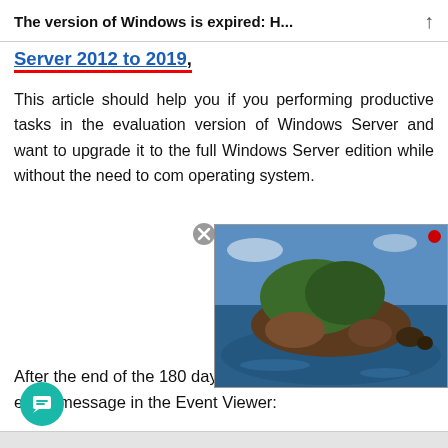The version of Windows is expired: H...
Server 2012 to 2019,
This article should help you if you performing productive tasks in the evaluation version of Windows Server and want to upgrade it to the full Windows Server edition while without the need to com operating system.
[Figure (photo): Aerial photograph of a rocky island surrounded by blue ocean water]
After the end of the 180 days you will notice the following event message in the Event Viewer: